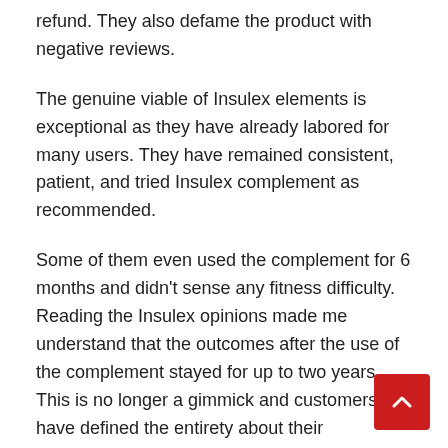refund. They also defame the product with negative reviews.
The genuine viable of Insulex elements is exceptional as they have already labored for many users. They have remained consistent, patient, and tried Insulex complement as recommended.
Some of them even used the complement for 6 months and didn’t sense any fitness difficulty. Reading the Insulex opinions made me understand that the outcomes after the use of the complement stayed for up to two years. This is no longer a gimmick and customers have defined the entirety about their transformation in their reviews.